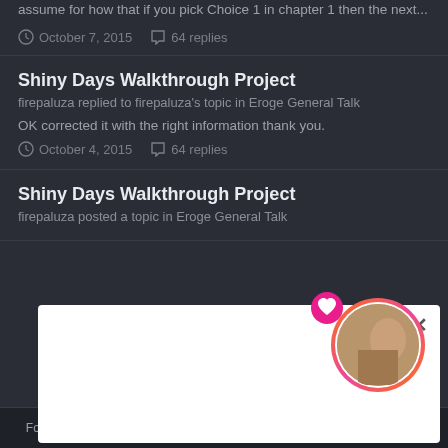assume for now that if you pick Choice 1 in chapter 1 then the next...
October 7, 2015    64 replies
Shiny Days Walkthrough Project
firepaluza replied to firepaluza's topic in Eroge General Talk
OK corrected it with the right information thank you.
October 4, 2015    64 replies
Shiny Days Walkthrough Project
firepaluza posted a topic in Eroge General Talk
[Figure (other): White popup overlay with close button and circular avatar image with heart icon]
Forums    Unread    Sign In    Register    More